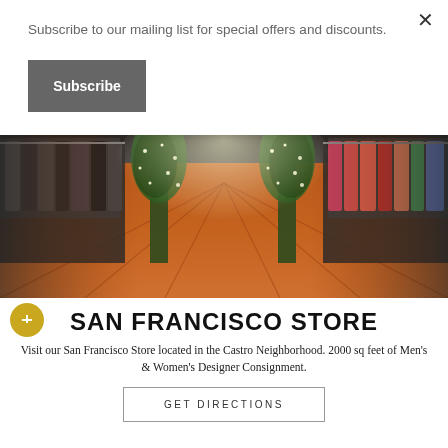Subscribe to our mailing list for special offers and discounts.
Subscribe
[Figure (photo): Interior of a clothing store with wooden floors, clothing racks on both sides, and decorative lit trees in the center]
SAN FRANCISCO STORE
Visit our San Francisco Store located in the Castro Neighborhood. 2000 sq feet of Men's & Women's Designer Consignment.
GET DIRECTIONS